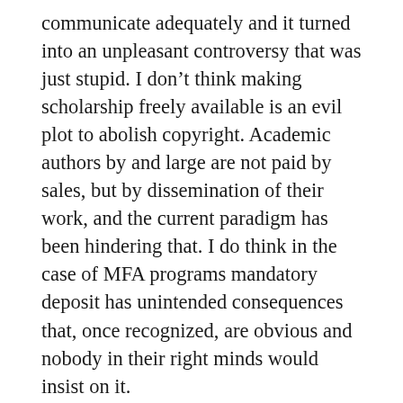communicate adequately and it turned into an unpleasant controversy that was just stupid. I don't think making scholarship freely available is an evil plot to abolish copyright. Academic authors by and large are not paid by sales, but by dissemination of their work, and the current paradigm has been hindering that. I do think in the case of MFA programs mandatory deposit has unintended consequences that, once recognized, are obvious and nobody in their right minds would insist on it.
And by the way, I do publish commercially and get the odd royalty check. I don't think the open access movement is an attempt to abolish copyright. It's an attempt to restore some of